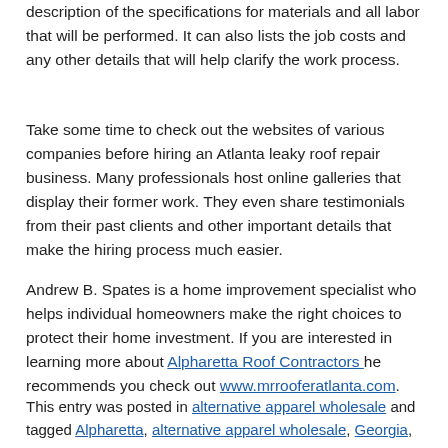description of the specifications for materials and all labor that will be performed. It can also lists the job costs and any other details that will help clarify the work process.
Take some time to check out the websites of various companies before hiring an Atlanta leaky roof repair business. Many professionals host online galleries that display their former work. They even share testimonials from their past clients and other important details that make the hiring process much easier.
Andrew B. Spates is a home improvement specialist who helps individual homeowners make the right choices to protect their home investment. If you are interested in learning more about Alpharetta Roof Contractors he recommends you check out www.mrrooferatlanta.com.
This entry was posted in alternative apparel wholesale and tagged Alpharetta, alternative apparel wholesale, Georgia, home